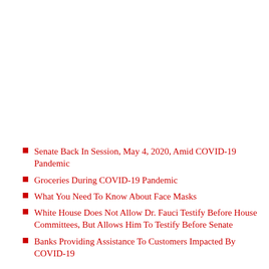Senate Back In Session, May 4, 2020, Amid COVID-19 Pandemic
Groceries During COVID-19 Pandemic
What You Need To Know About Face Masks
White House Does Not Allow Dr. Fauci Testify Before House Committees, But Allows Him To Testify Before Senate
Banks Providing Assistance To Customers Impacted By COVID-19